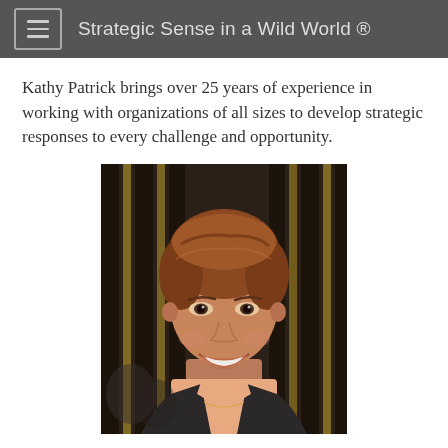Strategic Sense in a Wild World ®
Kathy Patrick brings over 25 years of experience in working with organizations of all sizes to develop strategic responses to every challenge and opportunity.
[Figure (photo): Portrait photo of a smiling woman with short reddish-brown hair, wearing a dark blazer over a light peach top with a delicate necklace, photographed against a dark patterned background.]